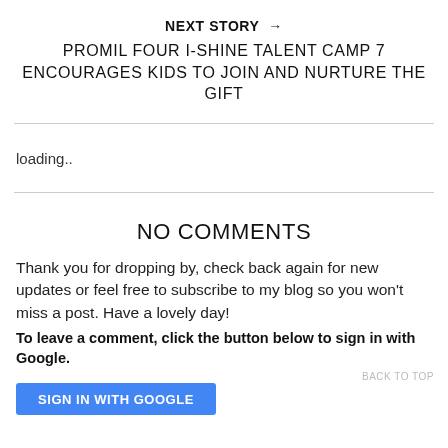NEXT STORY →
PROMIL FOUR I-SHINE TALENT CAMP 7 ENCOURAGES KIDS TO JOIN AND NURTURE THE GIFT
loading..
NO COMMENTS
Thank you for dropping by, check back again for new updates or feel free to subscribe to my blog so you won't miss a post. Have a lovely day!
To leave a comment, click the button below to sign in with Google.
BACK TO TOP
SIGN IN WITH GOOGLE